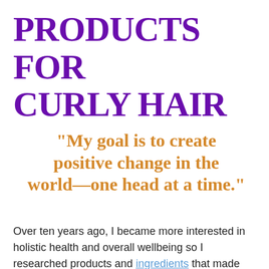PRODUCTS FOR CURLY HAIR
"My goal is to create positive change in the world—one head at a time."
Over ten years ago, I became more interested in holistic health and overall wellbeing so I researched products and ingredients that made the most sense for naturally